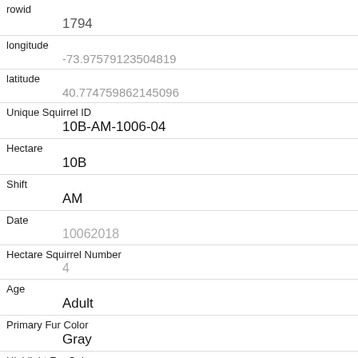| Field | Value |
| --- | --- |
| rowid | 1794 |
| longitude | -73.97579123504819 |
| latitude | 40.774759862145096 |
| Unique Squirrel ID | 10B-AM-1006-04 |
| Hectare | 10B |
| Shift | AM |
| Date | 10062018 |
| Hectare Squirrel Number | 4 |
| Age | Adult |
| Primary Fur Color | Gray |
| Highlight Fur Color |  |